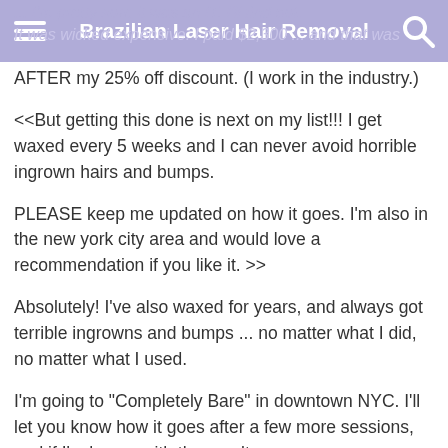Brazilian Laser Hair Removal
... I'm pretty sure it was an IT. I'll find out. It was wicked expensive. I paid $2,300 ... and that was AFTER my 25% off discount. (I work in the industry.)
<<But getting this done is next on my list!!! I get waxed every 5 weeks and I can never avoid horrible ingrown hairs and bumps.
PLEASE keep me updated on how it goes. I'm also in the new york city area and would love a recommendation if you like it. >>
Absolutely! I've also waxed for years, and always got terrible ingrowns and bumps ... no matter what I did, no matter what I used.
I'm going to "Completely Bare" in downtown NYC. I'll let you know how it goes after a few more sessions, and if I'm happy with the results.